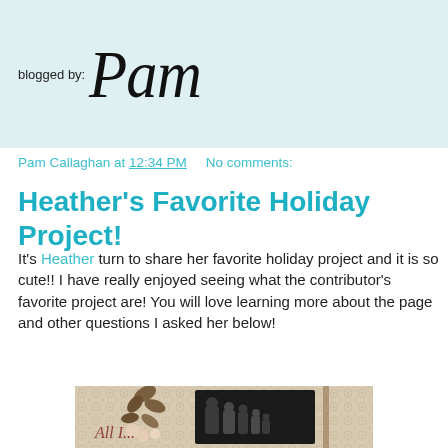blogged by: Pam
Pam Callaghan at 12:34 PM   No comments:
Heather's Favorite Holiday Project!
It's Heather turn to share her favorite holiday project and it is so cute!! I have really enjoyed seeing what the contributor's favorite project are! You will love learning more about the page and other questions I asked her below!
[Figure (photo): Scrapbook page with floral decorations and a family photo, with cursive text reading 'All I...' on a patterned background]